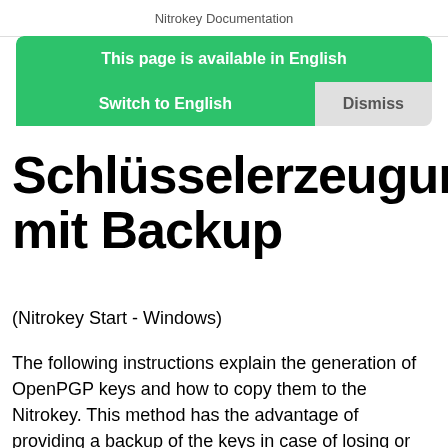Nitrokey Documentation
This page is available in English
Switch to English    Dismiss
Schlüsselerzeugung mit Backup
(Nitrokey Start - Windows)
The following instructions explain the generation of OpenPGP keys and how to copy them to the Nitrokey. This method has the advantage of providing a backup of the keys in case of losing or breaking the Nitrokey. The instructions are based on the command line interface of GnuPG. Thus, you need to have GnuPG installed on your system. The